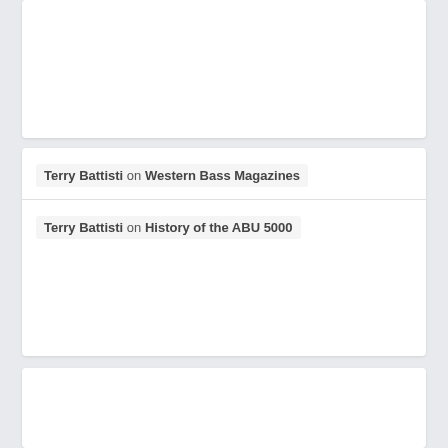Terry Battisti on Western Bass Magazines
Terry Battisti on History of the ABU 5000